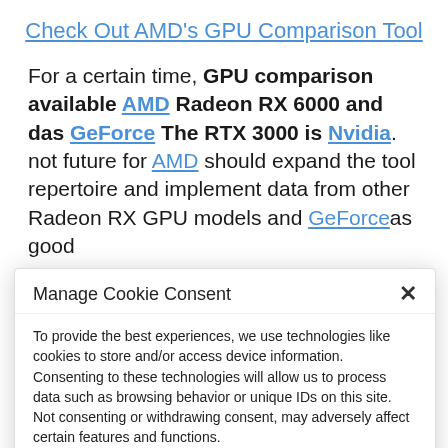Check Out AMD's GPU Comparison Tool
For a certain time, GPU comparison available AMD Radeon RX 6000 and das GeForce The RTX 3000 is Nvidia. not future for AMD should expand the tool repertoire and implement data from other Radeon RX GPU models and GeForceas good
Manage Cookie Consent
To provide the best experiences, we use technologies like cookies to store and/or access device information. Consenting to these technologies will allow us to process data such as browsing behavior or unique IDs on this site. Not consenting or withdrawing consent, may adversely affect certain features and functions.
Accept